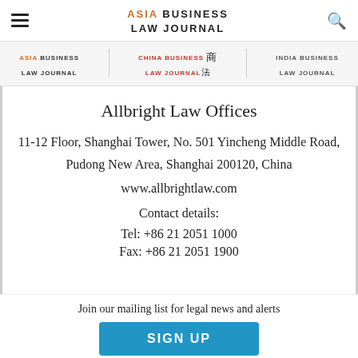ASIA BUSINESS LAW JOURNAL
ASIA BUSINESS LAW JOURNAL | CHINA BUSINESS LAW JOURNAL | INDIA BUSINESS LAW JOURNAL
Allbright Law Offices
11-12 Floor, Shanghai Tower, No. 501 Yincheng Middle Road,
Pudong New Area, Shanghai 200120, China
www.allbrightlaw.com
Contact details:
Tel: +86 21 2051 1000
Fax: +86 21 2051 1900
Join our mailing list for legal news and alerts
SIGN UP